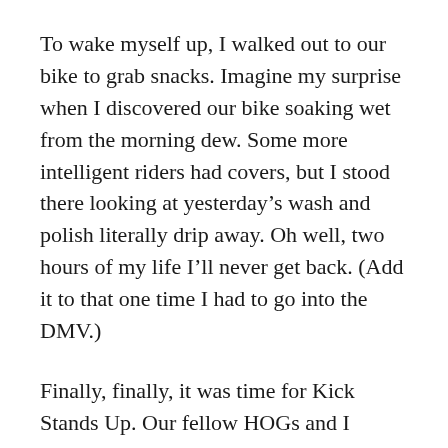To wake myself up, I walked out to our bike to grab snacks. Imagine my surprise when I discovered our bike soaking wet from the morning dew. Some more intelligent riders had covers, but I stood there looking at yesterday’s wash and polish literally drip away. Oh well, two hours of my life I’ll never get back. (Add it to that one time I had to go into the DMV.)
Finally, finally, it was time for Kick Stands Up. Our fellow HOGs and I strapped on our helmets and got ready to go. The beginning of the line, with the color guard, leaves at 9:11 a.m. We sat on our bikes and waited, looking for movement in the line ahead of us. Then suddenly, we were